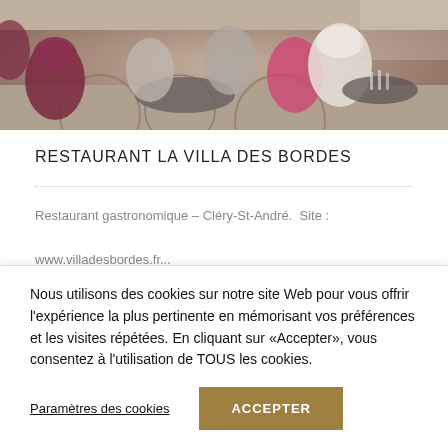[Figure (photo): Interior photo of Restaurant La Villa des Bordes showing elegant dining room with round tables set with glassware, upholstered chairs in burgundy, white and grey tones, and a decorative patterned carpet.]
RESTAURANT LA VILLA DES BORDES
Restaurant gastronomique – Cléry-St-André.  Site :

www.villadesbordes.fr...
Nous utilisons des cookies sur notre site Web pour vous offrir l'expérience la plus pertinente en mémorisant vos préférences et les visites répétées. En cliquant sur «Accepter», vous consentez à l'utilisation de TOUS les cookies.
Paramètres des cookies
ACCEPTER